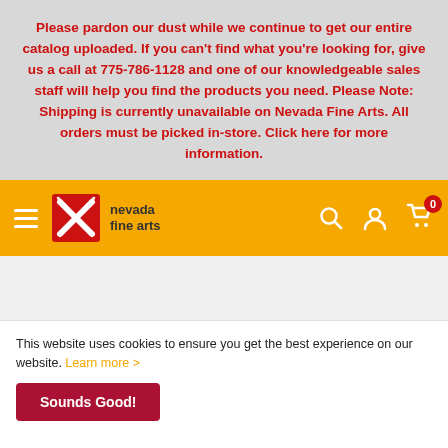Please pardon our dust while we continue to get our entire catalog uploaded. If you can't find what you're looking for, give us a call at 775-786-1128 and one of our knowledgeable sales staff will help you find the products you need. Please Note: Shipping is currently unavailable on Nevada Fine Arts. All orders must be picked in-store. Click here for more information.
[Figure (logo): Nevada Fine Arts logo with navigation bar on golden/amber background. Hamburger menu icon on left, logo with stylized X mark and text 'nevada fine arts' in center-left, search icon, account icon, and cart icon with badge '0' on right.]
This website uses cookies to ensure you get the best experience on our website. Learn more >
Sounds Good!